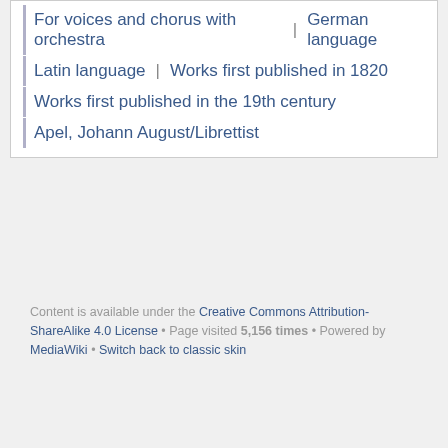For voices and chorus with orchestra | German language
Latin language | Works first published in 1820
Works first published in the 19th century
Apel, Johann August/Librettist
Content is available under the Creative Commons Attribution-ShareAlike 4.0 License • Page visited 5,156 times • Powered by MediaWiki • Switch back to classic skin